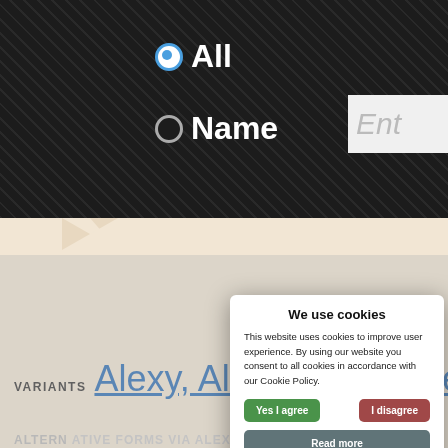[Figure (screenshot): Website screenshot showing a name database page with dark header containing radio buttons for All/Name search options and a text input. Main content area has beige background showing name variants (Alexy, Alexio, Alexi, Alexei, Al...), alternative forms (ALTERNATIVE FORMS VIA ALEXIS: Alejo, Alexios...), creative spellings section with male/female show dropdowns, and middle name pairings (Alexey Demetrius A.D.) with More button. A cookie consent dialog overlays the center with title 'We use cookies', body text about cookie policy, Yes I agree (green) and I disagree (red) buttons, Read more (gray) button, and footer text 'Free cookie consent by cookie-script.com'.]